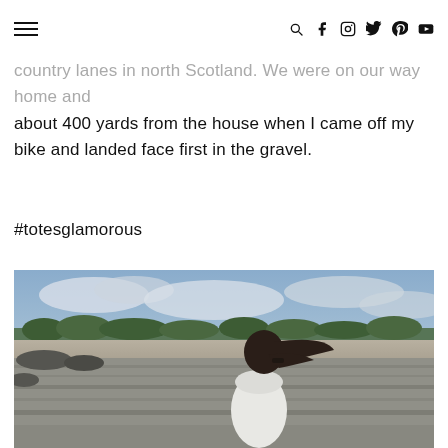[hamburger menu] [search] [facebook] [instagram] [twitter] [pinterest] [youtube]
country lanes in north Scotland. We were on our way home and about 400 yards from the house when I came off my bike and landed face first in the gravel.
#totesglamorous
[Figure (photo): Woman with dark hair in a white top seen from behind, standing on a rocky shoreline with a sandy beach, trees, and cloudy sky in the background — north Scotland coast.]